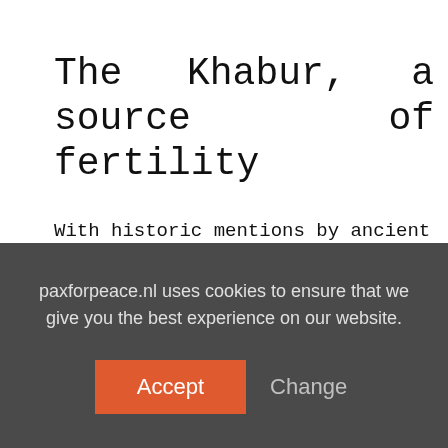The Khabur, a source of fertility
With historic mentions by ancient Greek writers and the Bible, the Khabur river and its valley have been an important water source in the region. While starting in Turkey, the 320 kilometer long river gets its main source of water from the springs at the border town of Ras-al Ain and flows towards Al Hasakah, where it flows towards the
paxforpeace.nl uses cookies to ensure that we give you the best experience on our website.
Accept
Change